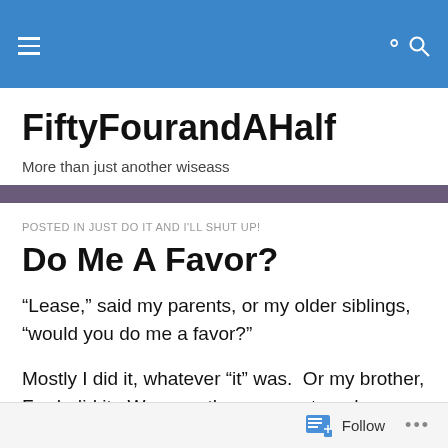FiftyFourandAHalf — navigation bar
FiftyFourandAHalf
More than just another wiseass
POSTED IN JUST DO IT AND I'LL SHUT UP!
Do Me A Favor?
“Lease,” said my parents, or my older siblings, “would you do me a favor?”
Mostly I did it, whatever “it” was.  Or my brother, Fred, did it.  We were the youngest, and were the runners, who
Follow